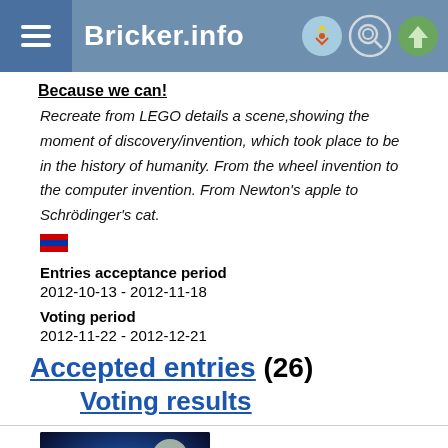Bricker.info
Because we can!
Recreate from LEGO details a scene,showing the moment of discovery/invention, which took place to be in the history of humanity. From the wheel invention to the computer invention. From Newton's apple to Schrödinger's cat.
[Figure (illustration): Russian flag emoji]
Entries acceptance period
2012-10-13 - 2012-11-18
Voting period
2012-11-22 - 2012-12-21
Accepted entries (26)
Voting results
[Figure (illustration): LEGO Batman and Robin characters image]